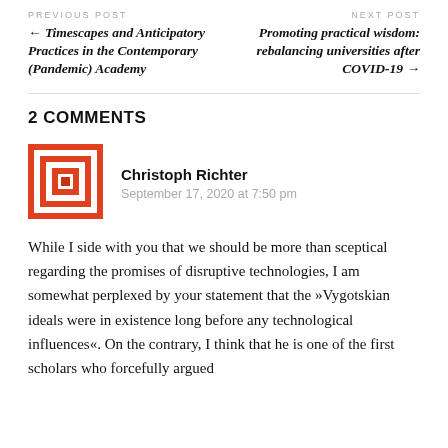PREVIOUS POST
NEXT POST
← Timescapes and Anticipatory Practices in the Contemporary (Pandemic) Academy
Promoting practical wisdom: rebalancing universities after COVID-19 →
2 COMMENTS
[Figure (illustration): Avatar image — red and white geometric pattern (identicon) for user Christoph Richter]
Christoph Richter
September 17, 2020 at 7:50 pm
While I side with you that we should be more than sceptical regarding the promises of disruptive technologies, I am somewhat perplexed by your statement that the »Vygotskian ideals were in existence long before any technological influences«. On the contrary, I think that he is one of the first scholars who forcefully argued